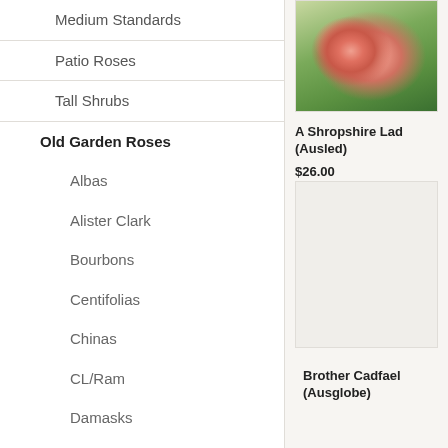Medium Standards
Patio Roses
Tall Shrubs
Old Garden Roses
Albas
Alister Clark
Bourbons
Centifolias
Chinas
CL/Ram
Damasks
David Austin English Roses
Floribundas
Gallicas
Hybrid Perpetuals
[Figure (photo): Close-up photo of a pink rose bloom with green foliage in background]
A Shropshire Lad (Ausled)
$26.00
[Figure (photo): Light grey/empty product image placeholder]
Brother Cadfael (Ausglobe)